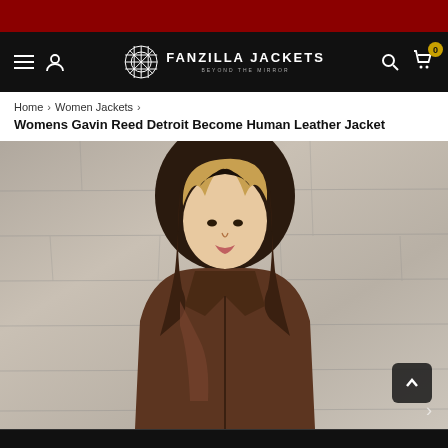FANZILLA JACKETS — BEYOND THE MIRROR
Home › Women Jackets ›
Womens Gavin Reed Detroit Become Human Leather Jacket
[Figure (photo): A young woman wearing a brown hooded leather jacket, standing against a textured stone/concrete wall. The jacket has a prominent hood and lapels. The model has blonde highlighted hair.]